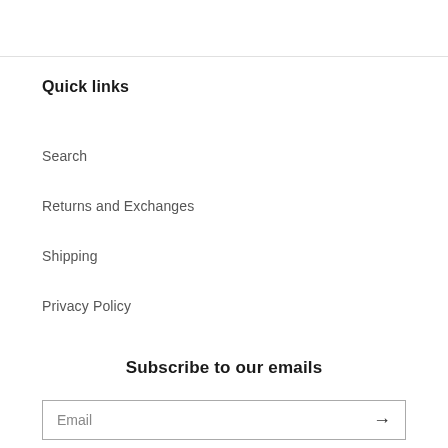Quick links
Search
Returns and Exchanges
Shipping
Privacy Policy
Subscribe to our emails
Email